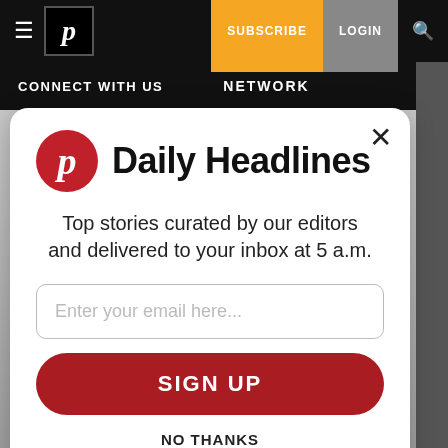CONNECT WITH US  NETWORK
Daily Headlines
Top stories curated by our editors and delivered to your inbox at 5 a.m.
Enter your email here...
SIGN UP
NO THANKS